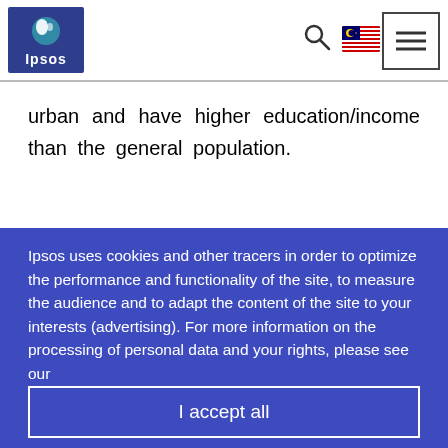Ipsos [logo] [search icon] [Malaysia flag] [menu icon]
urban and have higher education/income than the general population.
Ipsos uses cookies and other tracers in order to optimize the performance and functionality of the site, to measure the audience and to adapt the content of the site to your interests (advertising). For more information on the processing of personal data and your rights, please see our
I accept all
Customise Settings